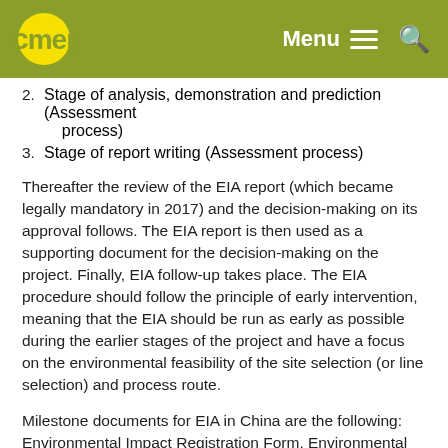mer — Menu [hamburger] [search]
2. Stage of analysis, demonstration and prediction (Assessment process)
3. Stage of report writing (Assessment process)
Thereafter the review of the EIA report (which became legally mandatory in 2017) and the decision-making on its approval follows. The EIA report is then used as a supporting document for the decision-making on the project. Finally, EIA follow-up takes place. The EIA procedure should follow the principle of early intervention, meaning that the EIA should be run as early as possible during the earlier stages of the project and have a focus on the environmental feasibility of the site selection (or line selection) and process route.
Milestone documents for EIA in China are the following: Environmental Impact Registration Form, Environmental Impact Report (EIR), Environmental Impact Form (EIF)
source ↓